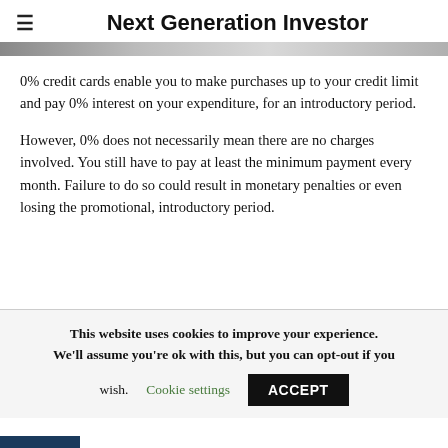Next Generation Investor
0% credit cards enable you to make purchases up to your credit limit and pay 0% interest on your expenditure, for an introductory period.
However, 0% does not necessarily mean there are no charges involved. You still have to pay at least the minimum payment every month. Failure to do so could result in monetary penalties or even losing the promotional, introductory period.
This website uses cookies to improve your experience. We'll assume you're ok with this, but you can opt-out if you wish. Cookie settings ACCEPT